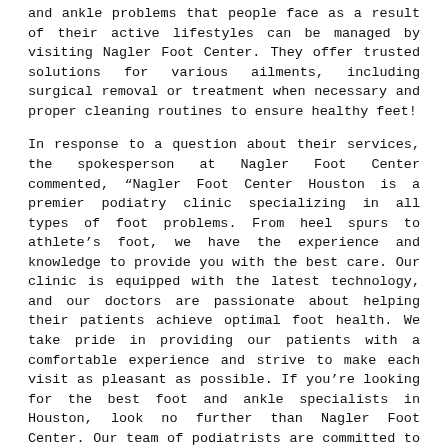and ankle problems that people face as a result of their active lifestyles can be managed by visiting Nagler Foot Center. They offer trusted solutions for various ailments, including surgical removal or treatment when necessary and proper cleaning routines to ensure healthy feet!
In response to a question about their services, the spokesperson at Nagler Foot Center commented, “Nagler Foot Center Houston is a premier podiatry clinic specializing in all types of foot problems. From heel spurs to athlete’s foot, we have the experience and knowledge to provide you with the best care. Our clinic is equipped with the latest technology, and our doctors are passionate about helping their patients achieve optimal foot health. We take pride in providing our patients with a comfortable experience and strive to make each visit as pleasant as possible. If you’re looking for the best foot and ankle specialists in Houston, look no further than Nagler Foot Center. Our team of podiatrists are committed to relieving pain, restoring function, and improving the appearance of